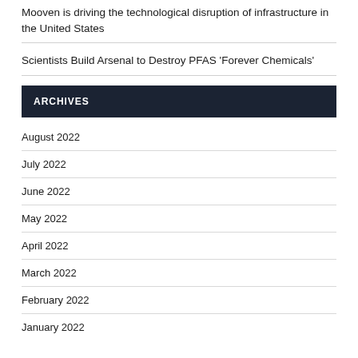Mooven is driving the technological disruption of infrastructure in the United States
Scientists Build Arsenal to Destroy PFAS 'Forever Chemicals'
ARCHIVES
August 2022
July 2022
June 2022
May 2022
April 2022
March 2022
February 2022
January 2022